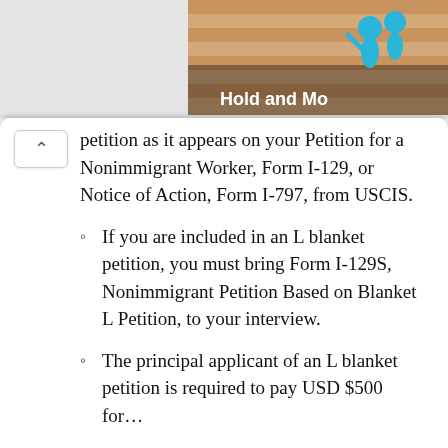[Figure (illustration): Partial screenshot of a US government webpage with a banner image showing blue figures and text 'Hold and Mo...' on the right side, with an orange/tan striped background]
petition as it appears on your Petition for a Nonimmigrant Worker, Form I-129, or Notice of Action, Form I-797, from USCIS.
If you are included in an L blanket petition, you must bring Form I-129S, Nonimmigrant Petition Based on Blanket L Petition, to your interview.
The principal applicant of an L blanket petition is required to pay USD $500 for...